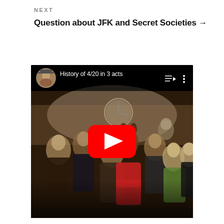NEXT
Question about JFK and Secret Societies →
[Figure (screenshot): YouTube video embed titled 'History of 4/20 in 3 acts' showing a group photo of people at an indoor gathering with a clock visible on the wall. A red YouTube play button is displayed in the center. The top bar shows a circular avatar of a person wearing a hat and the video title.]